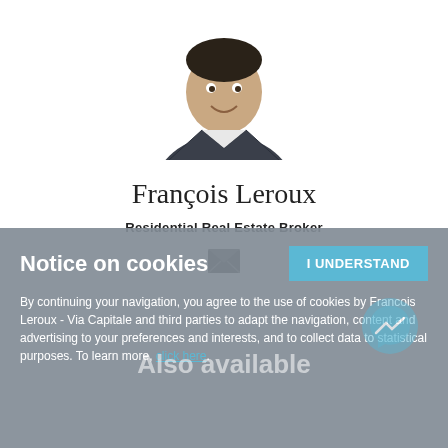[Figure (photo): Professional headshot photo of François Leroux, a man in a dark suit with white shirt, smiling, against a white background]
François Leroux
Residential Real Estate Broker
[Figure (other): Email envelope icon]
Notice on cookies
By continuing your navigation, you agree to the use of cookies by Francois Leroux - Via Capitale and third parties to adapt the navigation, content and advertising to your preferences and interests, and to collect data to statistical purposes. To learn more, click here.
Also available